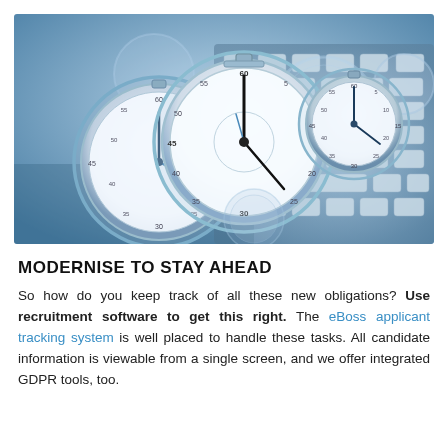[Figure (photo): Multiple stopwatch/chronometer clocks overlapping, placed on a computer keyboard with blue tones, depicting time tracking concept]
MODERNISE TO STAY AHEAD
So how do you keep track of all these new obligations? Use recruitment software to get this right. The eBoss applicant tracking system is well placed to handle these tasks. All candidate information is viewable from a single screen, and we offer integrated GDPR tools, too.